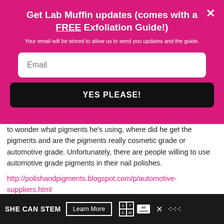Get Lab Muffin updates (comes with a FREE Exfoliation Guide!)
Your email will be stored to allow us to send you updates and the guide.
to wonder what pigments he's using, where did he get the pigments and are the pigments really cosmetic grade or automotive grade. Unfortunately, there are people willing to use automotive grade pigments in their nail polishes.
http://polishandpigments.blogspot.com/p/automotive-suppliers.html
Reply
[Figure (infographic): SHE CAN STEM footer banner with Learn More button, STEM logo, Ad Council logo, and X logo]